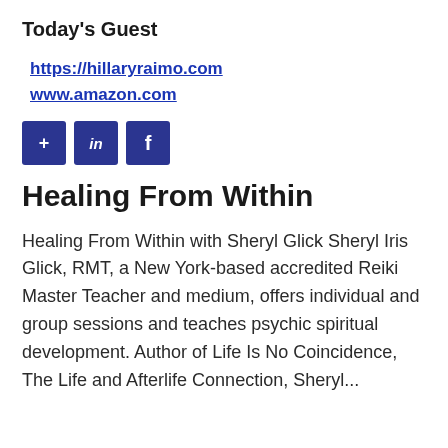Today's Guest
https://hillaryraimo.com
www.amazon.com
[Figure (other): Three social media icon buttons: plus sign, LinkedIn, and Facebook, all dark blue]
Healing From Within
Healing From Within with Sheryl Glick Sheryl Iris Glick, RMT, a New York-based accredited Reiki Master Teacher and medium, offers individual and group sessions and teaches psychic spiritual development. Author of Life Is No Coincidence, The Life and Afterlife Connection, Sheryl...